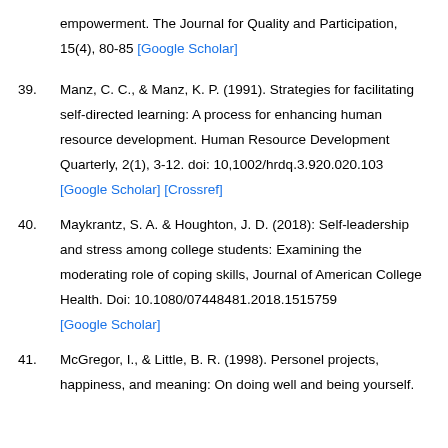empowerment. The Journal for Quality and Participation, 15(4), 80-85 [Google Scholar]
39. Manz, C. C., & Manz, K. P. (1991). Strategies for facilitating self-directed learning: A process for enhancing human resource development. Human Resource Development Quarterly, 2(1), 3-12. doi: 10,1002/hrdq.3.920.020.103 [Google Scholar] [Crossref]
40. Maykrantz, S. A. & Houghton, J. D. (2018): Self-leadership and stress among college students: Examining the moderating role of coping skills, Journal of American College Health. Doi: 10.1080/07448481.2018.1515759 [Google Scholar]
41. McGregor, I., & Little, B. R. (1998). Personel projects, happiness, and meaning: On doing well and being yourself.